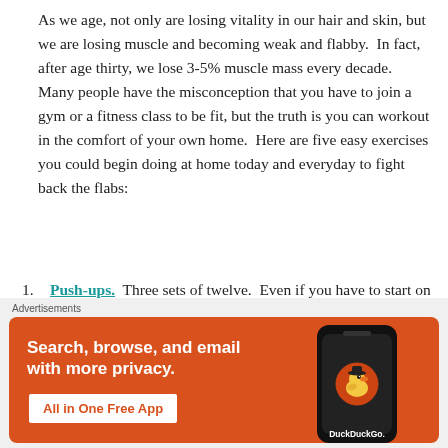As we age, not only are losing vitality in our hair and skin, but we are losing muscle and becoming weak and flabby.  In fact, after age thirty, we lose 3-5% muscle mass every decade.  Many people have the misconception that you have to join a gym or a fitness class to be fit, but the truth is you can workout in the comfort of your own home.  Here are five easy exercises you could begin doing at home today and everyday to fight back the flabs:
Push-ups.  Three sets of twelve.  Even if you have to start on your knees and work up to a full push-up, you need to bite the bullet and start doing them.  Within a few weeks, I promise they become easy peasy.  Push-ups are
[Figure (screenshot): DuckDuckGo advertisement banner with orange background. Text reads: Search, browse, and email with more privacy. All in One Free App. Shows a smartphone with DuckDuckGo duck logo.]